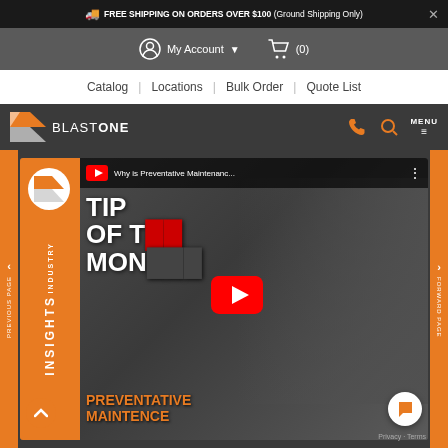FREE SHIPPING ON ORDERS OVER $100 (Ground Shipping Only)
My Account  (0)
Catalog | Locations | Bulk Order | Quote List
[Figure (logo): BlastOne logo with orange arrow/chevron icon and text BLAST ONE on dark background, with phone, search icons and MENU button]
[Figure (screenshot): YouTube embedded video thumbnail showing BlastOne Industry Insights Tip of the Month - Preventative Maintenance video with play button, person in BlastOne shirt, orange side panel with INDUSTRY INSIGHTS text, chevron navigation buttons on sides]